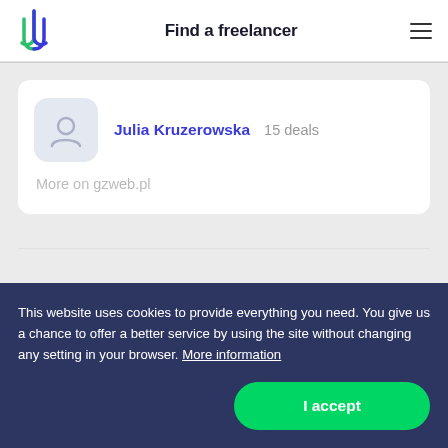Find a freelancer
Julia Kruzerowska   15 deals
More on gzweb.pl
This website uses cookies to provide everything you need. You give us a chance to offer a better service by using the site without changing any setting in your browser. More information
I accept